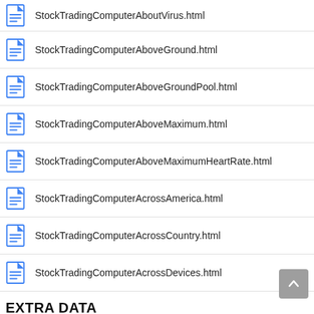StockTradingComputerAboutVirus.html
StockTradingComputerAboveGround.html
StockTradingComputerAboveGroundPool.html
StockTradingComputerAboveMaximum.html
StockTradingComputerAboveMaximumHeartRate.html
StockTradingComputerAcrossAmerica.html
StockTradingComputerAcrossCountry.html
StockTradingComputerAcrossDevices.html
EXTRA DATA
TITLE
Automated Stock Trading Computer...